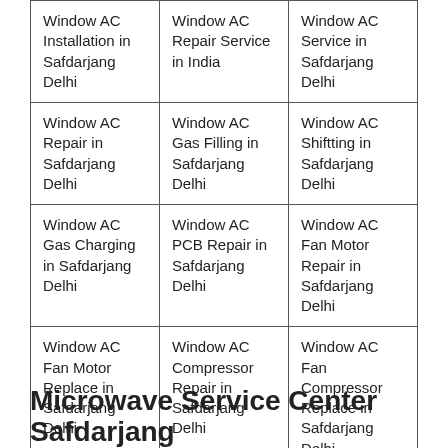| Window AC Installation in Safdarjang Delhi | Window AC Repair Service in India | Window AC Service in Safdarjang Delhi |
| Window AC Repair in Safdarjang Delhi | Window AC Gas Filling in Safdarjang Delhi | Window AC Shiftting in Safdarjang Delhi |
| Window AC Gas Charging in Safdarjang Delhi | Window AC PCB Repair in Safdarjang Delhi | Window AC Fan Motor Repair in Safdarjang Delhi |
| Window AC Fan Motor Replace in Safdarjang Delhi | Window AC Compressor Repair in Safdarjang Delhi | Window AC Fan Compressor Replace in Safdarjang Delhi |
| Split AC Compressor Repair in Safdarjang Delhi |  |  |
Microwave Service Center Safdarjang